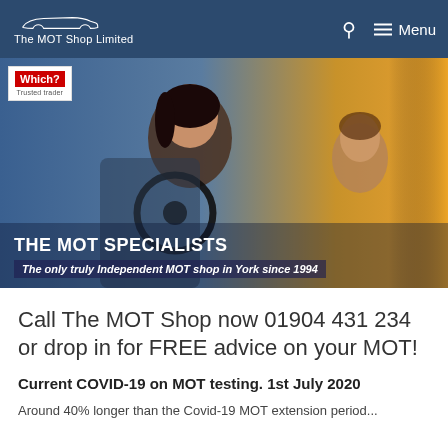The MOT Shop Limited — Menu
[Figure (photo): Hero image of a smiling woman in the driver's seat of a car, with another person visible in the back seat. Which? Trusted Trader badge overlaid top-left. Text overlay reading THE MOT SPECIALISTS and The only truly Independent MOT shop in York since 1994.]
Call The MOT Shop now 01904 431 234 or drop in for FREE advice on your MOT!
Current COVID-19 on MOT testing. 1st July 2020
Around 40% longer than the Covid-19 MOT extension period...